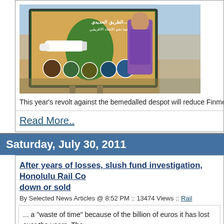[Figure (photo): Billboard photo showing Arabic text, a high-speed train, map of Africa, and a man in purple traditional attire, likely Colonel Gaddafi]
This year's revolt against the bemedalled despot will reduce Finmeccanica's rev
Read More..
Saturday, July 30, 2011
After years of losses, slush fund investigation, Honolulu Rail Co down or sold
By Selected News Articles @ 8:52 PM :: 13474 Views :: Rail
... a "waste of time" because of the billion of euros it has lost over the years. The trains and subways....
Read More..